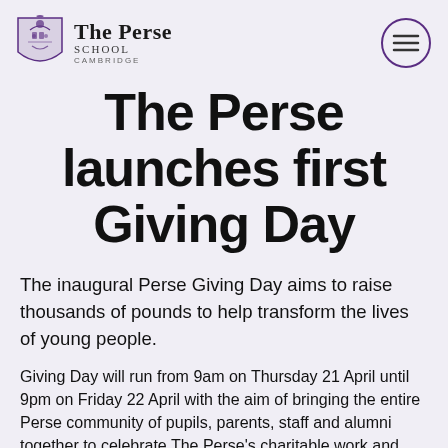The Perse School Cambridge
The Perse launches first Giving Day
The inaugural Perse Giving Day aims to raise thousands of pounds to help transform the lives of young people.
Giving Day will run from 9am on Thursday 21 April until 9pm on Friday 22 April with the aim of bringing the entire Perse community of pupils, parents, staff and alumni together to celebrate The Perse's charitable work and raise